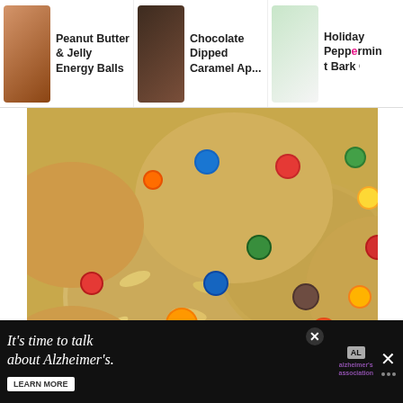[Figure (screenshot): Navigation bar with three food recipe thumbnails: Peanut Butter & Jelly Energy Balls, Chocolate Dipped Caramel Ap..., Holiday Peppermint Bark OREO]
Peanut Butter & Jelly Energy Balls
Chocolate Dipped Caramel Ap...
Holiday Peppermint Bark OREO
[Figure (photo): Close-up photo of oatmeal energy balls with colorful M&M candies]
NUTRITION INFO
[Figure (logo): App heart logo on yellow circle]
[Figure (screenshot): Alzheimer's Association ad banner: It's time to talk about Alzheimer's. LEARN MORE]